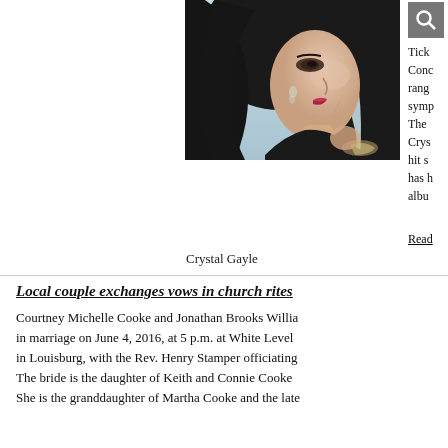[Figure (photo): Portrait photo of Crystal Gayle, a woman with long dark hair, viewed in profile, wearing dark clothing and jewelry, against a light blue background.]
Tick... Conc... rang... symp... The Crys... hit s... has h... albu...
Read...
Crystal Gayle
Local couple exchanges vows in church rites
Courtney Michelle Cooke and Jonathan Brooks Willia... in marriage on June 4, 2016, at 5 p.m. at White Level... in Louisburg, with the Rev. Henry Stamper officiating... The bride is the daughter of Keith and Connie Cooke... She is the granddaughter of Martha Cooke and the late...